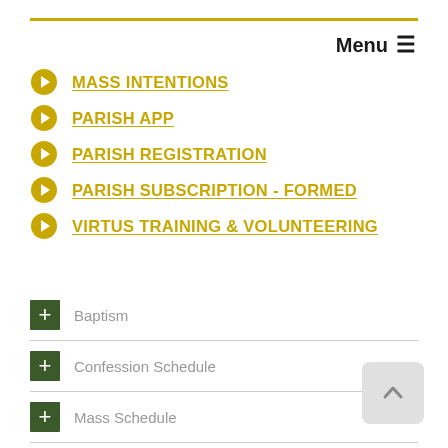Menu
MASS INTENTIONS
PARISH APP
PARISH REGISTRATION
PARISH SUBSCRIPTION - FORMED
VIRTUS TRAINING & VOLUNTEERING
Baptism
Confession Schedule
Mass Schedule
Confirmation
Secretary's Office Hours